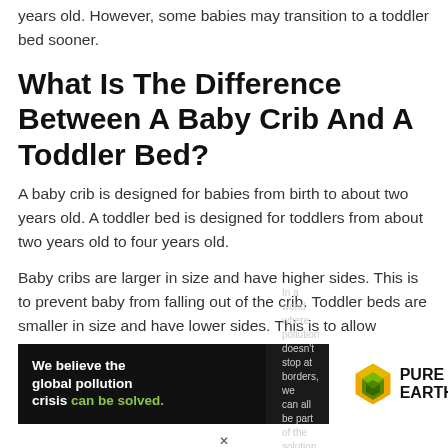years old. However, some babies may transition to a toddler bed sooner.
What Is The Difference Between A Baby Crib And A Toddler Bed?
A baby crib is designed for babies from birth to about two years old. A toddler bed is designed for toddlers from about two years old to four years old.
Baby cribs are larger in size and have higher sides. This is to prevent baby from falling out of the crib. Toddler beds are smaller in size and have lower sides. This is to allow
[Figure (infographic): Pure Earth advertisement banner: left black panel says 'We believe the global pollution crisis can be solved.' with 'can be solved.' in green, right side white panel shows Pure Earth logo with diamond/leaf icon and 'JOIN US.' in yellow. Center text: 'In a world where pollution doesn't stop at borders, we can all be part of the solution.']